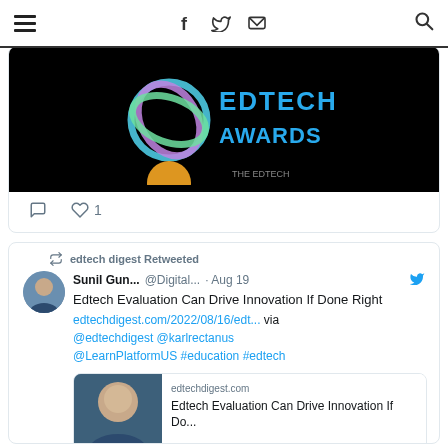≡  f  🐦  ✉  🔍
[Figure (screenshot): Partial view of EdTech Awards image with circular logo on black background]
0 comments  ♡ 1 like
edtech digest Retweeted
Sunil Gun... @Digital... · Aug 19
Edtech Evaluation Can Drive Innovation If Done Right
edtechdigest.com/2022/08/16/edt... via @edtechdigest @karlrectanus @LearnPlatformUS #education #edtech
[Figure (screenshot): Link preview card for edtechdigest.com article: Edtech Evaluation Can Drive Innovation If Do...]